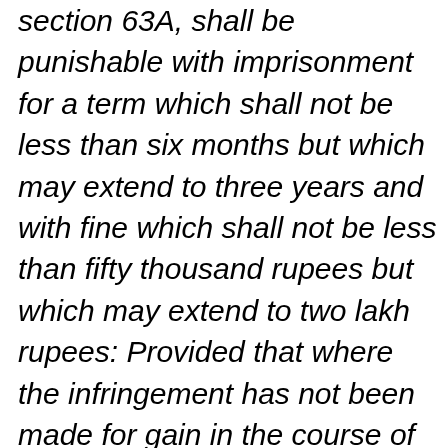section 63A, shall be punishable with imprisonment for a term which shall not be less than six months but which may extend to three years and with fine which shall not be less than fifty thousand rupees but which may extend to two lakh rupees: Provided that where the infringement has not been made for gain in the course of trade or business] the court may, for adequate and special reasons to be mentioned in the judgment,